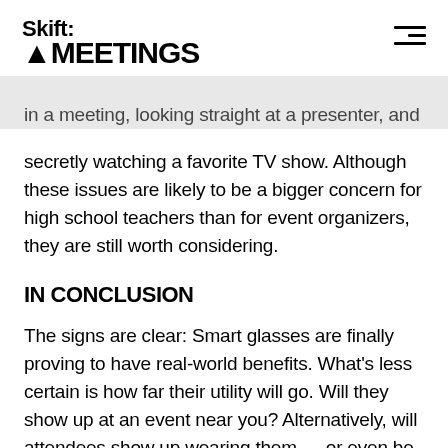Skift MEETINGS
in a meeting, looking straight at a presenter, and secretly watching a favorite TV show. Although these issues are likely to be a bigger concern for high school teachers than for event organizers, they are still worth considering.
IN CONCLUSION
The signs are clear: Smart glasses are finally proving to have real-world benefits. What's less certain is how far their utility will go. Will they show up at an event near you? Alternatively, will attendees show up wearing them — or even be